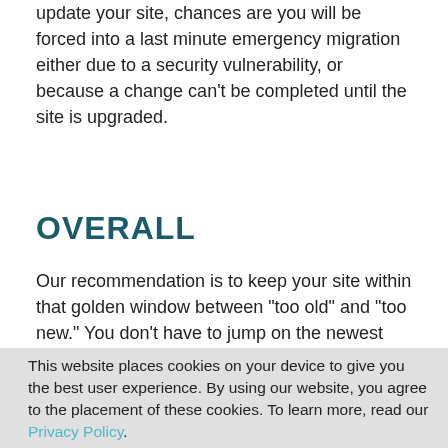update your site, chances are you will be forced into a last minute emergency migration either due to a security vulnerability, or because a change can't be completed until the site is upgraded.
OVERALL
Our recommendation is to keep your site within that golden window between "too old" and "too new." You don't have to jump on the newest release
This website places cookies on your device to give you the best user experience. By using our website, you agree to the placement of these cookies. To learn more, read our Privacy Policy.
ACCEPT AND CLOSE